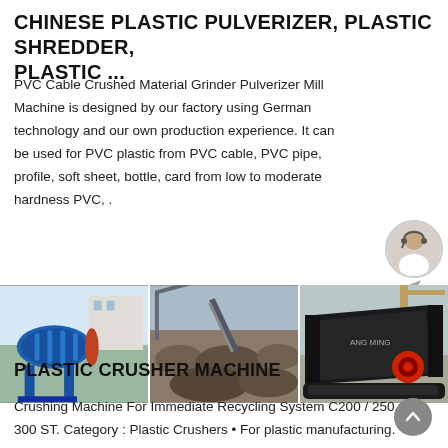CHINESE PLASTIC PULVERIZER, PLASTIC SHREDDER, PLASTIC ...
PVC Cable Crushed Material Grinder Pulverizer Mill Machine is designed by our factory using German technology and our own production experience. It can be used for PVC plastic from PVC cable, PVC pipe, profile, soft sheet, bottle, card from low to moderate hardness PVC, .
[Figure (photo): Three-panel image strip showing industrial machinery: (1) a blue ball mill machine, (2) a construction/demolition site with crusher equipment, (3) a large black industrial crusher machine with red circular element.]
PLASTIC CRUSHER MACHINE
Crushing Machine For Immediate Recycling System C200 / 250 / 300 ST. Category : Plastic Crushers • For plastic manufacturing. Industrial recycling and granulation of plastic. • Suitable materials